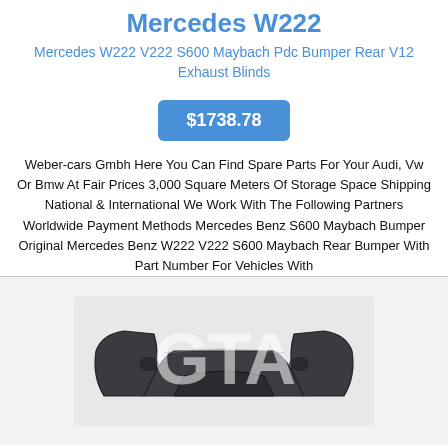Mercedes W222
Mercedes W222 V222 S600 Maybach Pdc Bumper Rear V12 Exhaust Blinds
$1738.78
Weber-cars Gmbh Here You Can Find Spare Parts For Your Audi, Vw Or Bmw At Fair Prices 3,000 Square Meters Of Storage Space Shipping National & International We Work With The Following Partners Worldwide Payment Methods Mercedes Benz S600 Maybach Bumper Original Mercedes Benz W222 V222 S600 Maybach Rear Bumper With Part Number For Vehicles With
[Figure (photo): Product photo of a Mercedes W222 rear bumper (dark colored), shown on a light gray background with a GTA watermark overlay.]